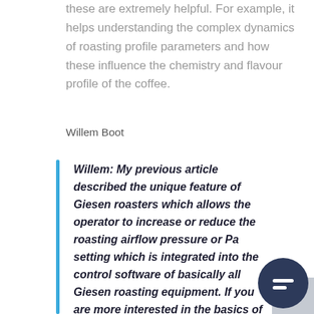these are extremely helpful. For example, it helps understanding the complex dynamics of roasting profile parameters and how these influence the chemistry and flavour profile of the coffee.
Willem Boot
Willem: My previous article described the unique feature of Giesen roasters which allows the operator to increase or reduce the roasting airflow pressure or Pa setting which is integrated into the control software of basically all Giesen roasting equipment. If you are more interested in the basics of coffee roasting, you can read that here.